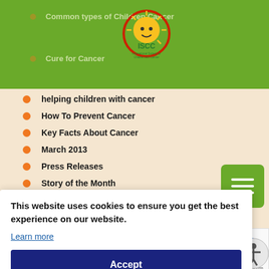[Figure (logo): ISCC - International Society for Children with Cancer logo, circular design with sun and child figure]
Common types of Children Cancer
Cure for Cancer
helping children with cancer
How To Prevent Cancer
Key Facts About Cancer
March 2013
Press Releases
Story of the Month
Uncategorized
What is Cancer?
This website uses cookies to ensure you get the best experience on our website.
Learn more
Accept
About ISCC
About Us
Contacts